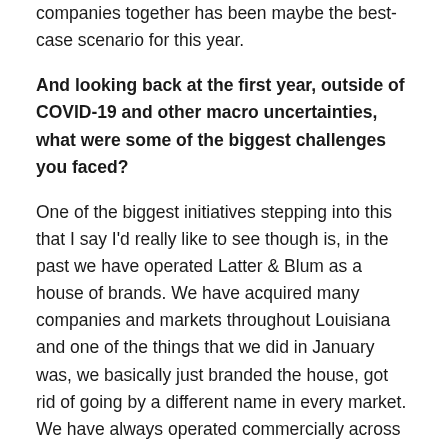Looking back at this point, I'm happy. Bringing these companies together has been maybe the best-case scenario for this year.
And looking back at the first year, outside of COVID-19 and other macro uncertainties, what were some of the biggest challenges you faced?
One of the biggest initiatives stepping into this that I say I'd really like to see though is, in the past we have operated Latter & Blum as a house of brands. We have acquired many companies and markets throughout Louisiana and one of the things that we did in January was, we basically just branded the house, got rid of going by a different name in every market. We have always operated commercially across the state as NAI Latter & Blum.